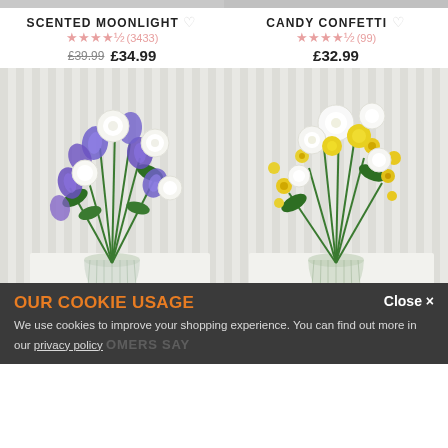SCENTED MOONLIGHT ♡ ★★★★½ (3433) £39.99 £34.99
CANDY CONFETTI ♡ ★★★★½ (99) £32.99
[Figure (photo): Purple iris and white roses bouquet in a ribbed glass vase on a white surface]
[Figure (photo): Yellow and white flowers bouquet with green accents in a ribbed glass vase on a white surface]
STARRY NIGHT ♡ ★★★★½ (3114) £29.99
SWEET SERENITY ♡ ★★★½ (226) £34.99 £29.99
OUR COOKIE USAGE
We use cookies to improve your shopping experience. You can find out more in our privacy policy
Close ×
OMERS SAY